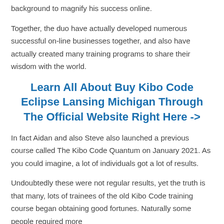background to magnify his success online.
Together, the duo have actually developed numerous successful on-line businesses together, and also have actually created many training programs to share their wisdom with the world.
Learn All About Buy Kibo Code Eclipse Lansing Michigan Through The Official Website Right Here ->
In fact Aidan and also Steve also launched a previous course called The Kibo Code Quantum on January 2021. As you could imagine, a lot of individuals got a lot of results.
Undoubtedly these were not regular results, yet the truth is that many, lots of trainees of the old Kibo Code training course began obtaining good fortunes. Naturally some people required more